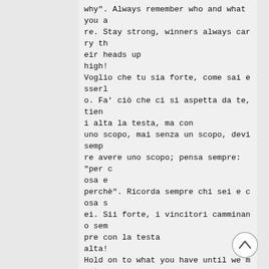why". Always remember who and what you are. Stay strong, winners always carry their heads up high!
Voglio che tu sia forte, come sai esserlo. Fa' ciò che ci si aspetta da te, tieni alta la testa, ma con uno scopo, mai senza un scopo, devi sempre avere uno scopo; pensa sempre: “per cosa e perchè". Ricorda sempre chi sei e cosa sei. Sii forte, i vincitori camminano sempre con la testa alta!
Hold on to what you have until we meet again, and then we will have a wonderful eternal life without any problems and sadness, in palaces of gold and silver and so much more. I did not leave you on your own. Allah is with you and your parents. Whenever you need anything ask Him. He listens and knows what is inside you.
[Figure (other): A circular scroll-to-top button with an upward chevron arrow, positioned at bottom right.]